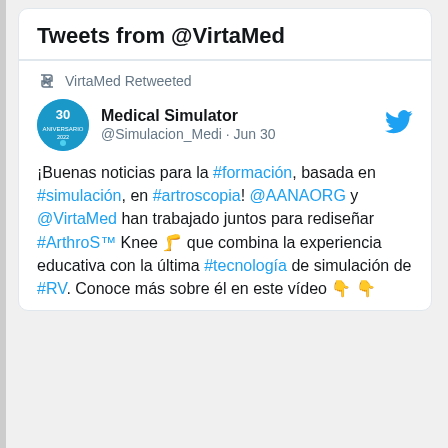Tweets from @VirtaMed
VirtaMed Retweeted
Medical Simulator @Simulacion_Medi · Jun 30
¡Buenas noticias para la #formación, basada en #simulación, en #artroscopia! @AANAORG y @VirtaMed han trabajado juntos para rediseñar #ArthroS™ Knee 🦵 que combina la experiencia educativa con la última #tecnología de simulación de #RV. Conoce más sobre él en este video 👇👇
This website stores cookies on your device that are used to collect information about how you interact with our website and allow us to remember you. To find out more about the cookies we use, see our Privacy Policy.
Accept